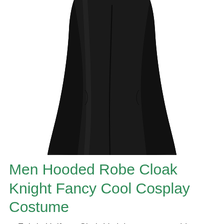[Figure (photo): Partial view of a black hooded robe/cloak costume, showing the lower portion of the cloak against a white background]
Men Hooded Robe Cloak Knight Fancy Cool Cosplay Costume
Fabric:Uniform Cloth It's inbetween. not thin not thick.
Makes a Fun Dress up to Wear to Movie Premiers and Costume Parties